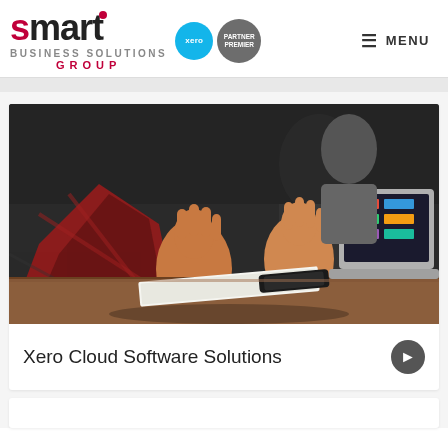[Figure (logo): Smart Business Solutions Group logo with Xero partner badges]
MENU
[Figure (photo): Office meeting photo showing hands gesturing over a table with a laptop, notebook, and phone in the background]
Xero Cloud Software Solutions